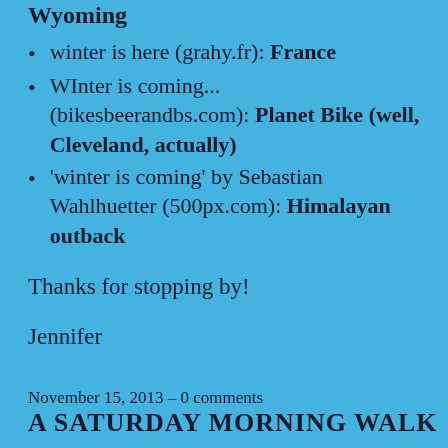Wyoming
winter is here (grahy.fr): France
WInter is coming... (bikesbeerandbs.com): Planet Bike (well, Cleveland, actually)
'winter is coming' by Sebastian Wahlhuetter (500px.com): Himalayan outback
Thanks for stopping by!
Jennifer
November 15, 2013 – 0 comments
A SATURDAY MORNING WALK